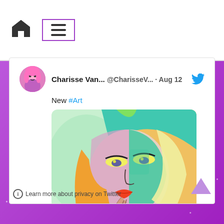[Figure (screenshot): Website navigation bar with home icon and hamburger menu icon in a purple-bordered box]
Charisse Van... @CharisseV... · Aug 12
New #Art
[Figure (illustration): Colorful pop-art style painting of a woman's face with vibrant teal, orange, green, and pink colors]
View more on Twitter
Learn more about privacy on Twitter